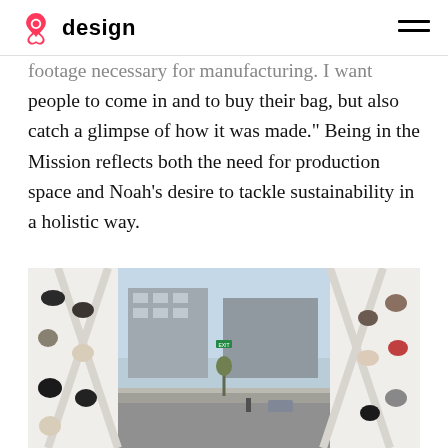Airbnb design
footage necessary for manufacturing. I want people to come in and to buy their bag, but also catch a glimpse of how it was made.” Being in the Mission reflects both the need for production space and Noah’s desire to tackle sustainability in a holistic way.
[Figure (photo): Interior of a bright retail store showing bags hanging on white walls on left and right sides, with large floor-to-ceiling windows in the center revealing a city street view with buildings across the street. A-frame display structures are visible in the foreground.]